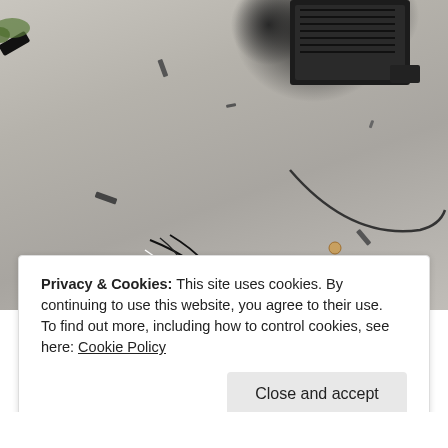[Figure (photo): Aerial or overhead view of broken electronic equipment and wires/cables scattered on a concrete surface. A dark electronic device (possibly a computer case or similar) is visible in the upper right corner, with various cables, wires, and small debris spread across grey concrete ground.]
Privacy & Cookies: This site uses cookies. By continuing to use this website, you agree to their use.
To find out more, including how to control cookies, see here: Cookie Policy
Close and accept